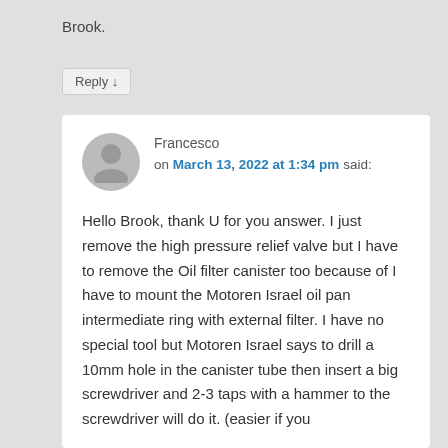Brook.
Reply ↓
Francesco on March 13, 2022 at 1:34 pm said:
Hello Brook, thank U for you answer. I just remove the high pressure relief valve but I have to remove the Oil filter canister too because of I have to mount the Motoren Israel oil pan intermediate ring with external filter. I have no special tool but Motoren Israel says to drill a 10mm hole in the canister tube then insert a big screwdriver and 2-3 taps with a hammer to the screwdriver will do it. (easier if you